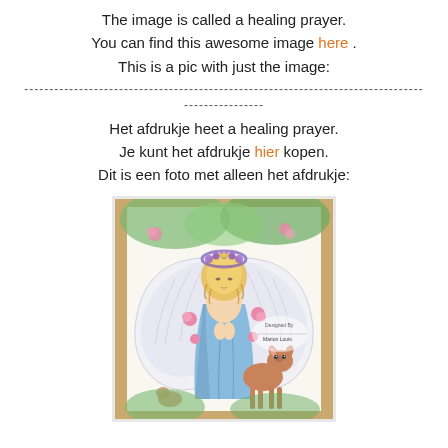The image is called a healing prayer.
You can find this awesome image here .
This is a pic with just the image:
--------------------------------------------------------------------------------
----------------
Het afdrukje heet a healing prayer.
Je kunt het afdrukje hier kopen.
Dit is een foto met alleen het afdrukje:
[Figure (illustration): A colored illustration/print of an angel with large white wings, wearing a blue dress and purple flower crown, hands clasped in prayer, standing next to a deer/fawn, surrounded by pink roses and green foliage. The print is mounted on a wooden-framed board. There is a designer watermark in the lower right area reading 'Designed By Marion Louis'.]